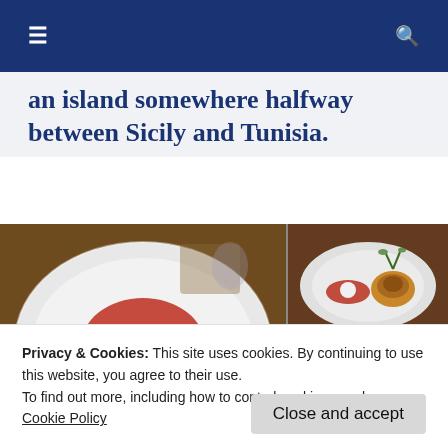☰  🔍
an island somewhere halfway between Sicily and Tunisia.
[Figure (photo): Three food photos: large left image showing a white plate with a meat dish in tomato sauce with chickpeas; top right image showing a white plate with a small pastry and sauce; bottom right image showing a white plate with a dish topped with fennel fronds.]
Privacy & Cookies: This site uses cookies. By continuing to use this website, you agree to their use.
To find out more, including how to control cookies, see here:
Cookie Policy
Close and accept